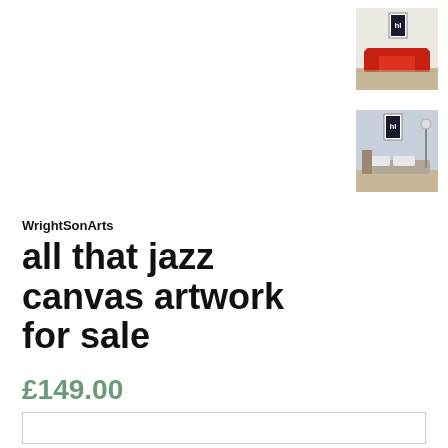[Figure (photo): Thumbnail of artwork in a living room setting with red sofa and framed jazz artwork on wall]
[Figure (photo): Thumbnail of artwork in a bedroom setting with grey bed and framed jazz artwork on wall]
WrightSonArts
all that jazz canvas artwork for sale
£149.00
Tax included. Shipping calculated at checkout.
Choose a Size